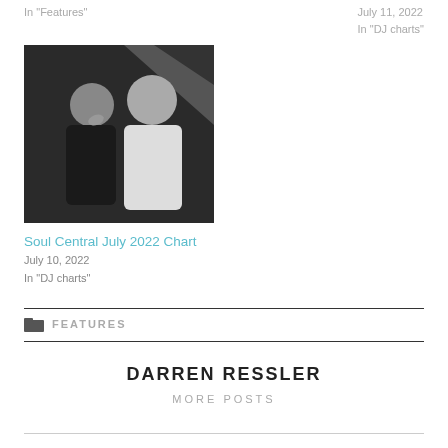In "Features"
July 11, 2022
In "DJ charts"
[Figure (photo): Black and white photo of two men, one in a black shirt and one in a white shirt, laughing together]
Soul Central July 2022 Chart
July 10, 2022
In "DJ charts"
FEATURES
DARREN RESSLER
MORE POSTS